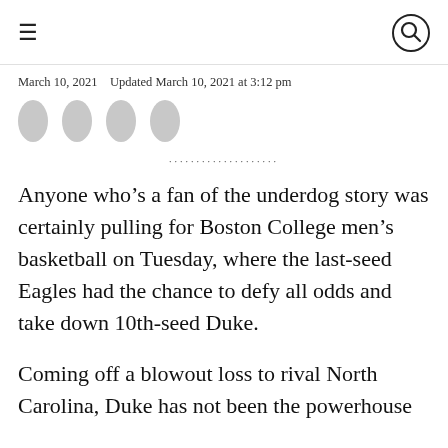≡  [search icon]
March 10, 2021   Updated March 10, 2021 at 3:12 pm
[Figure (other): Four gray oval social sharing button icons in a row]
···················
Anyone who's a fan of the underdog story was certainly pulling for Boston College men's basketball on Tuesday, where the last-seed Eagles had the chance to defy all odds and take down 10th-seed Duke.
Coming off a blowout loss to rival North Carolina, Duke has not been the powerhouse